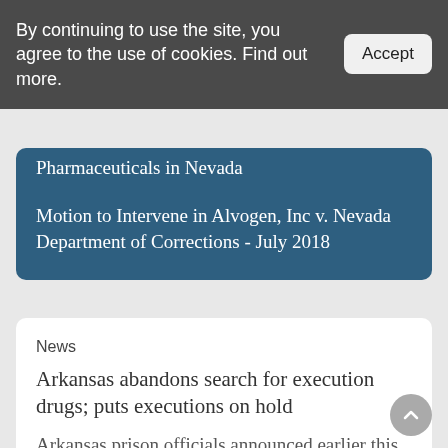By continuing to use the site, you agree to the use of cookies. Find out more.
Accept
Pharmaceuticals in Nevada
Motion to Intervene in Alvogen, Inc v. Nevada Department of Corrections - July 2018
News
Arkansas abandons search for execution drugs; puts executions on hold
Arkansas prison officials announced earlier this month that they were halting their search for lethal injection drugs, a move that means that the state is unlikely to